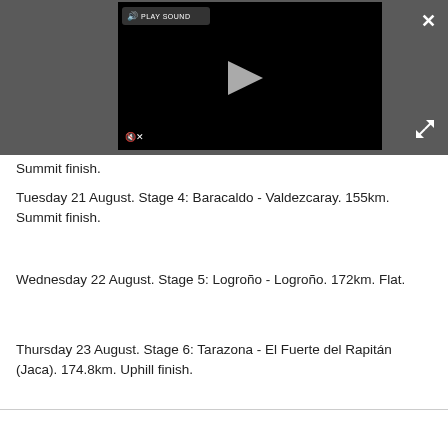[Figure (screenshot): Video player UI showing a black video area with a play button in the center, a 'PLAY SOUND' button in the top-left of the video, a mute icon in the bottom-left, a close (X) button in the top-right of the dark bar, and an expand arrows icon in the bottom-right of the dark bar.]
Summit finish.
Tuesday 21 August. Stage 4: Baracaldo - Valdezcaray. 155km. Summit finish.
Wednesday 22 August. Stage 5: Logroño - Logroño. 172km. Flat.
Thursday 23 August. Stage 6: Tarazona - El Fuerte del Rapitán (Jaca). 174.8km. Uphill finish.